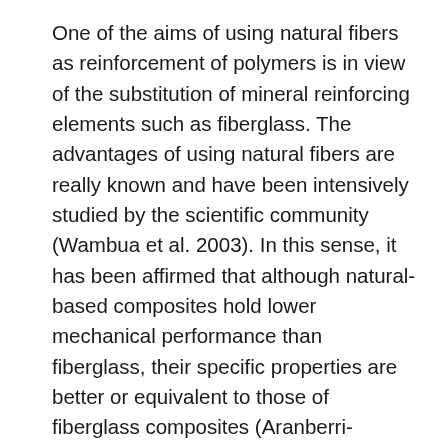One of the aims of using natural fibers as reinforcement of polymers is in view of the substitution of mineral reinforcing elements such as fiberglass. The advantages of using natural fibers are really known and have been intensively studied by the scientific community (Wambua et al. 2003). In this sense, it has been affirmed that although natural-based composites hold lower mechanical performance than fiberglass, their specific properties are better or equivalent to those of fiberglass composites (Aranberri-Askargorta et al. 2003; Islam et al. 2010), at same fiber load by weight. However, this statement is not accomplished by the present results, as illustrated in Table 3. The specific Young's modulus of the obtained composites, shown in Table 3, were determined considering 2.45 g/cm⁻³ the specific